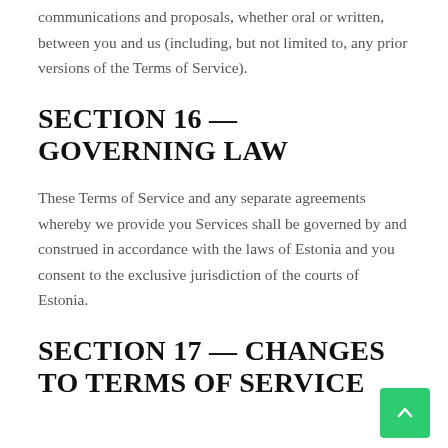communications and proposals, whether oral or written, between you and us (including, but not limited to, any prior versions of the Terms of Service).
SECTION 16 — GOVERNING LAW
These Terms of Service and any separate agreements whereby we provide you Services shall be governed by and construed in accordance with the laws of Estonia and you consent to the exclusive jurisdiction of the courts of Estonia.
SECTION 17 — CHANGES TO TERMS OF SERVICE